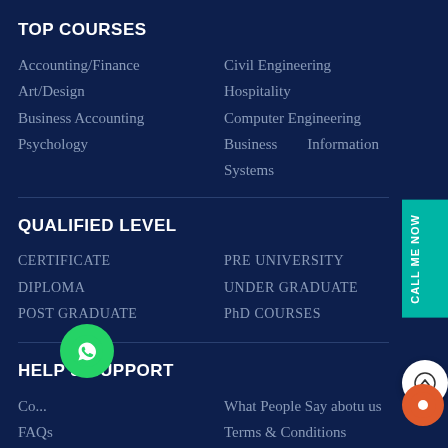TOP COURSES
Accounting/Finance
Civil Engineering
Art/Design
Hospitality
Business Accounting
Computer Engineering
Psychology
Business Information Systems
QUALIFIED LEVEL
CERTIFICATE
PRE UNIVERSITY
DIPLOMA
UNDER GRADUATE
POST GRADUATE
PhD COURSES
HELP & SUPPORT
Co...
What People Say abotu us
FAQs
Terms & Conditions
Articles
Privacy Policy